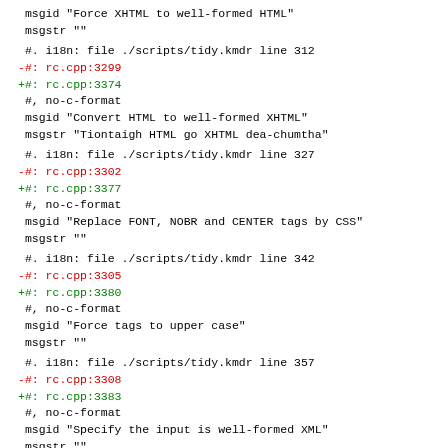msgid "Force XHTML to well-formed HTML"
msgstr ""
#. i18n: file ./scripts/tidy.kmdr line 312
-#: rc.cpp:3299
+#: rc.cpp:3374
 #, no-c-format
 msgid "Convert HTML to well-formed XHTML"
 msgstr "Tiontaigh HTML go XHTML dea-chumtha"
#. i18n: file ./scripts/tidy.kmdr line 327
-#: rc.cpp:3302
+#: rc.cpp:3377
 #, no-c-format
 msgid "Replace FONT, NOBR and CENTER tags by CSS"
 msgstr ""
#. i18n: file ./scripts/tidy.kmdr line 342
-#: rc.cpp:3305
+#: rc.cpp:3380
 #, no-c-format
 msgid "Force tags to upper case"
 msgstr ""
#. i18n: file ./scripts/tidy.kmdr line 357
-#: rc.cpp:3308
+#: rc.cpp:3383
 #, no-c-format
 msgid "Specify the input is well-formed XML"
 msgstr ""